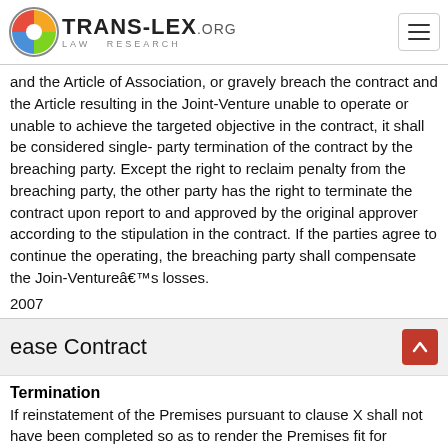TRANS-LEX.ORG LAW RESEARCH
and the Article of Association, or gravely breach the contract and the Article resulting in the Joint-Venture unable to operate or unable to achieve the targeted objective in the contract, it shall be considered single- party termination of the contract by the breaching party. Except the right to reclaim penalty from the breaching party, the other party has the right to terminate the contract upon report to and approved by the original approver according to the stipulation in the contract. If the parties agree to continue the operating, the breaching party shall compensate the Join-Ventureâs losses.
2007
ease Contract
Termination
If reinstatement of the Premises pursuant to clause X shall not have been completed so as to render the Premises fit for beneficial occupation and use and accessible on the date immediately following the expiration of the period of Loss of Rent insurance to be effected by the Landlord under clause X, then either the Landlord or the Tenant